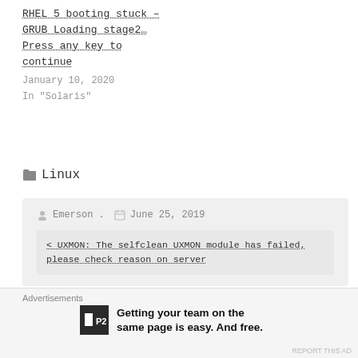RHEL 5 booting stuck – GRUB Loading stage2… Press any key to continue
January 10, 2020
In "Solaris"
📁 Linux
Emerson .   June 25, 2019
< UXMON: The selfclean UXMON module has failed, please check reason on server
Advertisements
Getting your team on the same page is easy. And free.